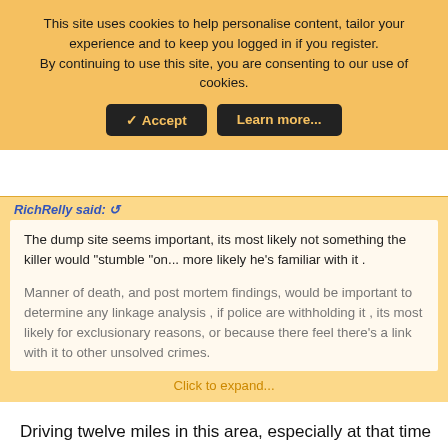This site uses cookies to help personalise content, tailor your experience and to keep you logged in if you register.
By continuing to use this site, you are consenting to our use of cookies.
✓ Accept   Learn more...
RichRelly said: ↺
The dump site seems important, its most likely not something the killer would "stumble "on... more likely he's familiar with it .
Manner of death, and post mortem findings, would be important to determine any linkage analysis , if police are withholding it , its most likely for exclusionary reasons, or because there feel there's a link with it to other unsolved crimes.
Click to expand...
Driving twelve miles in this area, especially at that time of day isn't the fastest thing in the world to accomplish. When I lived in